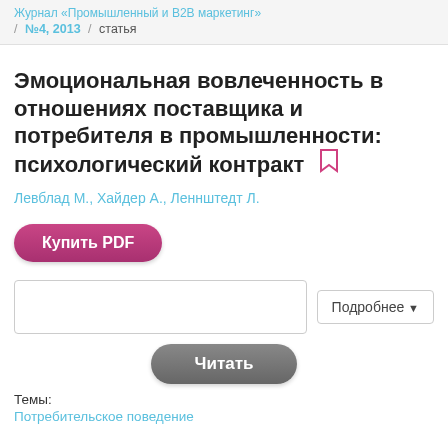Журнал «Промышленный и B2B маркетинг» / №4, 2013 / статья
Эмоциональная вовлеченность в отношениях поставщика и потребителя в промышленности: психологический контракт
Левблад М., Хайдер А., Леннштедт Л.
Купить PDF
Подробнее
Читать
Темы:
Потребительское поведение